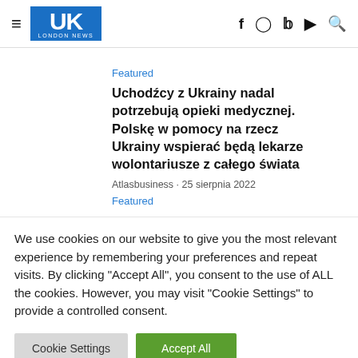UK London News
Featured
Uchodźcy z Ukrainy nadal potrzebują opieki medycznej. Polskę w pomocy na rzecz Ukrainy wspierać będą lekarze wolontariusze z całego świata
Atlasbusiness · 25 sierpnia 2022
Featured
We use cookies on our website to give you the most relevant experience by remembering your preferences and repeat visits. By clicking "Accept All", you consent to the use of ALL the cookies. However, you may visit "Cookie Settings" to provide a controlled consent.